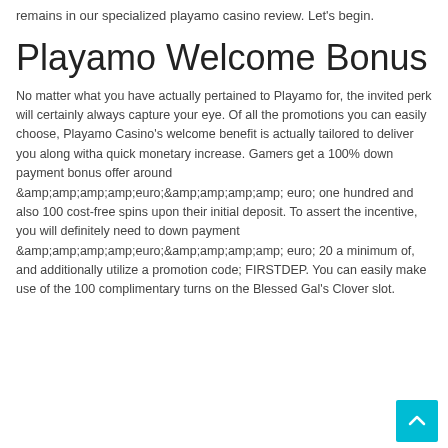remains in our specialized playamo casino review. Let's begin.
Playamo Welcome Bonus
No matter what you have actually pertained to Playamo for, the invited perk will certainly always capture your eye. Of all the promotions you can easily choose, Playamo Casino's welcome benefit is actually tailored to deliver you along witha quick monetary increase. Gamers get a 100% down payment bonus offer around &amp;amp;amp;amp;amp;euro;&amp;amp;amp;amp;amp; euro; one hundred and also 100 cost-free spins upon their initial deposit. To assert the incentive, you will definitely need to down payment &amp;amp;amp;amp;amp;euro;&amp;amp;amp;amp;amp; euro; 20 a minimum of, and additionally utilize a promotion code; FIRSTDEP. You can easily make use of the 100 complimentary turns on the Blessed Gal's Clover slot.